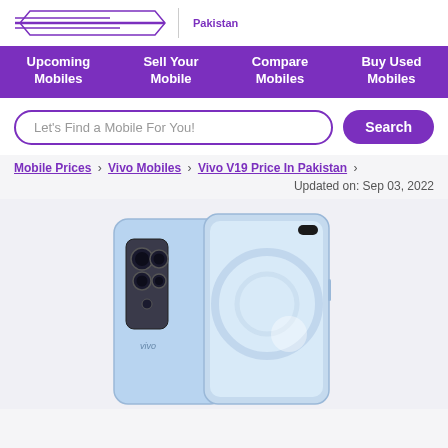Pakistan
Upcoming Mobiles | Sell Your Mobile | Compare Mobiles | Buy Used Mobiles
Let's Find a Mobile For You!
Mobile Prices > Vivo Mobiles > Vivo V19 Price In Pakistan >
Updated on: Sep 03, 2022
[Figure (photo): Vivo V19 smartphone shown from back and front, light blue color, with multi-camera setup on back and hole-punch front camera]